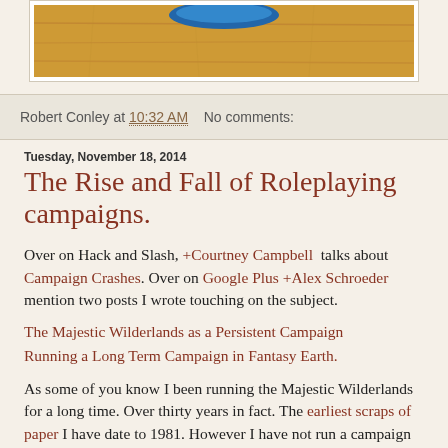[Figure (photo): Partial image showing a wooden surface with a blue circular object at the top, cropped at the top of the page.]
Robert Conley at 10:32 AM   No comments:
Tuesday, November 18, 2014
The Rise and Fall of Roleplaying campaigns.
Over on Hack and Slash, +Courtney Campbell talks about Campaign Crashes. Over on Google Plus +Alex Schroeder mention two posts I wrote touching on the subject.
The Majestic Wilderlands as a Persistent Campaign
Running a Long Term Campaign in Fantasy Earth.
As some of you know I been running the Majestic Wilderlands for a long time. Over thirty years in fact. The earliest scraps of paper I have date to 1981. However I have not run a campaign for 30